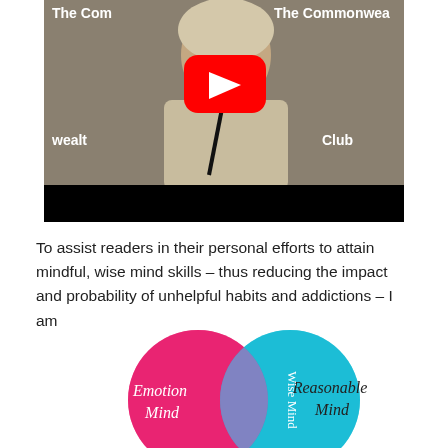[Figure (screenshot): YouTube video thumbnail showing a woman in a beige jacket speaking at a podium with a microphone, background shows 'The Commonwealth Club' text. A red YouTube play button is overlaid in the center.]
To assist readers in their personal efforts to attain mindful, wise mind skills – thus reducing the impact and probability of unhelpful habits and addictions – I am
[Figure (other): Venn diagram showing two overlapping circles: a pink/magenta circle labeled 'Emotion Mind' on the left, a cyan/teal circle labeled 'Reasonable Mind' on the right, with the overlapping section in purple labeled 'Wise Mind' (shown vertically).]